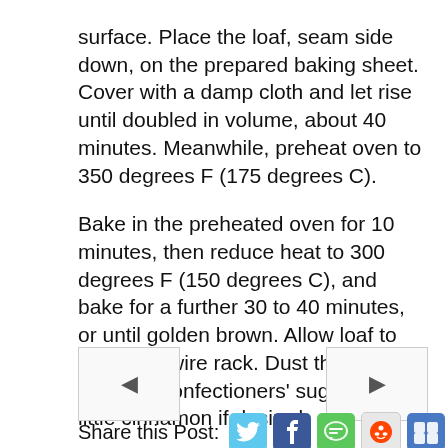surface. Place the loaf, seam side down, on the prepared baking sheet. Cover with a damp cloth and let rise until doubled in volume, about 40 minutes. Meanwhile, preheat oven to 350 degrees F (175 degrees C).
Bake in the preheated oven for 10 minutes, then reduce heat to 300 degrees F (150 degrees C), and bake for a further 30 to 40 minutes, or until golden brown. Allow loaf to cool on a wire rack. Dust the cooled loaf with confectioners' sugar, and a little cinnamon if desired.
(variation: place a roll of Marzipan in center of dough before cooking)
[Figure (other): Navigation buttons: left arrow and right arrow for previous/next page]
Share this Post: